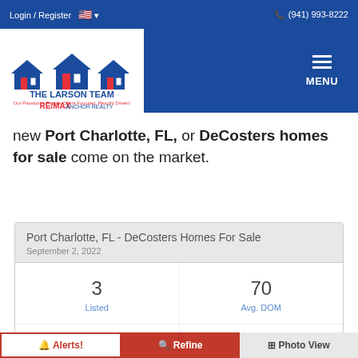Login / Register   🇺🇸 ▾   (941) 993-8222
[Figure (logo): The Larson Team RE/MAX Anchor Realty logo with house silhouettes in blue and red]
new Port Charlotte, FL, or DeCosters homes for sale come on the market.
| Listed | Avg. DOM | Avg. $ / Sq.Ft. | Med. List Price |
| --- | --- | --- | --- |
| 3 | 70 | $259.59 | $250,000 |
Alerts!   Refine   Photo View